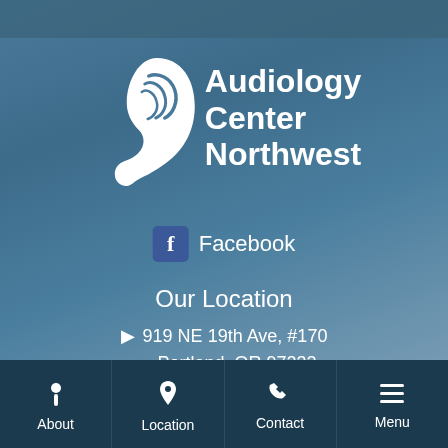[Figure (logo): Audiology Center Northwest logo with white ear graphic and text]
Facebook
Our Location
919 NE 19th Ave, #170
Portland, OR 97232
(503) 232-1845
About | Location | Contact | Menu